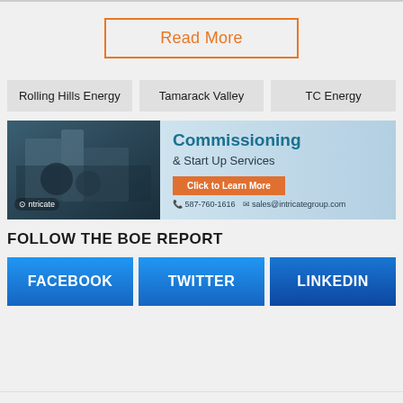Read More
Rolling Hills Energy
Tamarack Valley
TC Energy
[Figure (infographic): Intricate Group advertisement banner for Commissioning & Start Up Services with photo of workers at industrial facility, orange CTA button 'Click to Learn More', phone 587-760-1616, email sales@intricategroup.com]
FOLLOW THE BOE REPORT
FACEBOOK
TWITTER
LINKEDIN